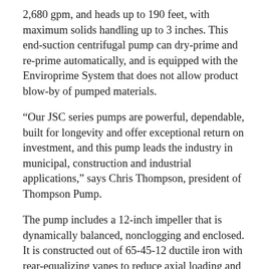2,680 gpm, and heads up to 190 feet, with maximum solids handling up to 3 inches. This end-suction centrifugal pump can dry-prime and re-prime automatically, and is equipped with the Enviroprime System that does not allow product blow-by of pumped materials.
“Our JSC series pumps are powerful, dependable, built for longevity and offer exceptional return on investment, and this pump leads the industry in municipal, construction and industrial applications,” says Chris Thompson, president of Thompson Pump.
The pump includes a 12-inch impeller that is dynamically balanced, nonclogging and enclosed. It is constructed out of 65-45-12 ductile iron with rear-equalizing vanes to reduce axial loading and prolong seal and bearing life. Its mechanical seal can be dry-